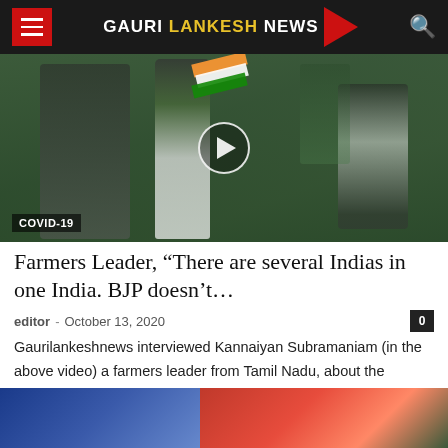Gauri Lankesh News
[Figure (photo): Protest scene with a farmers leader speaking into a microphone and waving an Indian flag, surrounded by people in military-style clothing. COVID-19 tag visible at bottom left. Play button overlay indicates a video.]
Farmers Leader, “There are several Indias in one India. BJP doesn’t…
editor – October 13, 2020
Gaurilankeshnews interviewed Kannaiyan Subramaniam (in the above video) a farmers leader from Tamil Nadu, about the controversial agro-marketing bills and farmers bill. Subramaniam has…